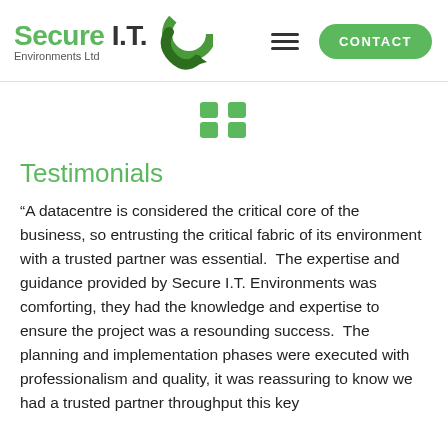[Figure (logo): Secure I.T. Environments Ltd logo with green text and circular arrow icon]
[Figure (other): Green quote marks icon]
Testimonials
“A datacentre is considered the critical core of the business, so entrusting the critical fabric of its environment with a trusted partner was essential.  The expertise and guidance provided by Secure I.T. Environments was comforting, they had the knowledge and expertise to ensure the project was a resounding success.  The planning and implementation phases were executed with professionalism and quality, it was reassuring to know we had a trusted partner throughput this key